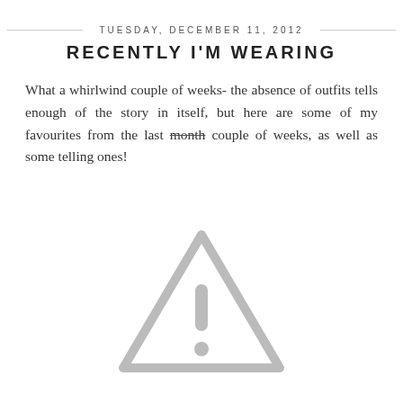TUESDAY, DECEMBER 11, 2012
RECENTLY I'M WEARING
What a whirlwind couple of weeks- the absence of outfits tells enough of the story in itself, but here are some of my favourites from the last month couple of weeks, as well as some telling ones!
[Figure (illustration): A grey warning/caution triangle icon with an exclamation mark inside, suggesting a missing or broken image placeholder.]